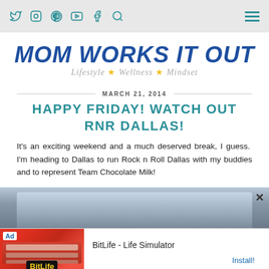Navigation bar with social media icons (Twitter, Instagram, Pinterest, YouTube, Facebook, Search) and hamburger menu
[Figure (logo): Mom Works It Out blog logo — bold blue italic text 'MOM WORKS IT OUT' with subtitle 'Lifestyle ★ Wellness ★ Mindset' in grey italic script]
MARCH 21, 2014
HAPPY FRIDAY! WATCH OUT RNR DALLAS!
It's an exciting weekend and a much deserved break, I guess.  I'm heading to Dallas to run Rock n Roll Dallas with my buddies and to represent Team Chocolate Milk!
[Figure (photo): Partial view of a photo showing what appears to be a grey tent or canopy structure]
[Figure (screenshot): Advertisement banner for BitLife - Life Simulator app with red background showing game screenshot on left and app name and Install button on right]